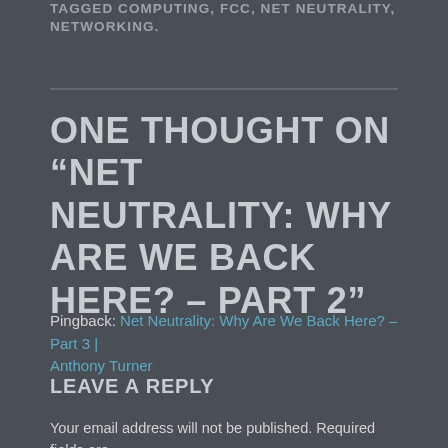TAGGED COMPUTING, FCC, NET NEUTRALITY, NETWORKING.
ONE THOUGHT ON “NET NEUTRALITY: WHY ARE WE BACK HERE? – PART 2”
Pingback: Net Neutrality: Why Are We Back Here? – Part 3 | Anthony Turner
LEAVE A REPLY
Your email address will not be published. Required fields are